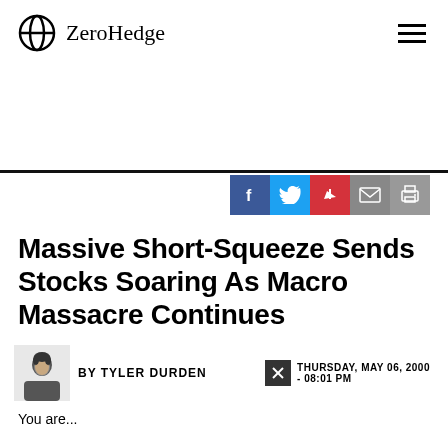ZeroHedge
Massive Short-Squeeze Sends Stocks Soaring As Macro Massacre Continues
BY TYLER DURDEN
THURSDAY, MAY 06, 2000 - 08:01 PM
You are...